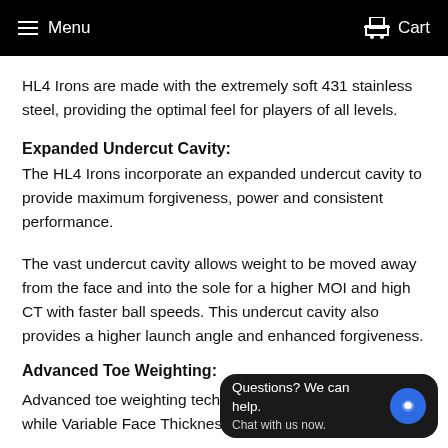Menu  Cart
HL4 Irons are made with the extremely soft 431 stainless steel, providing the optimal feel for players of all levels.
Expanded Undercut Cavity:
The HL4 Irons incorporate an expanded undercut cavity to provide maximum forgiveness, power and consistent performance.
The vast undercut cavity allows weight to be moved away from the face and into the sole for a higher MOI and high CT with faster ball speeds. This undercut cavity also provides a higher launch angle and enhanced forgiveness.
Advanced Toe Weighting:
Advanced toe weighting technology stability on impact while Variable Face Thickness technology
[Figure (other): Chat widget overlay: 'Questions? We can help. Chat with us now.' with blue chat bubble icon]